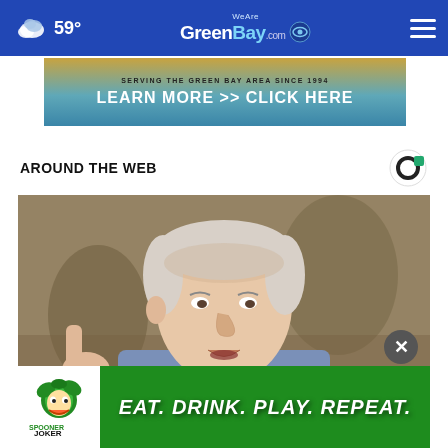59° WeAreGreenBay.com
[Figure (screenshot): WeAreGreenBay.com website header with CBS eye logo, weather showing 59 degrees, and hamburger menu]
[Figure (screenshot): Advertisement banner: SERVING THE GREEN BAY AREA SINCE 1994 - LEARN MORE >> CLICK HERE]
AROUND THE WEB
[Figure (photo): Close-up photo of an elderly man with grey hair gesturing with his hand, wearing a blue jacket, speaking or presenting]
[Figure (screenshot): Advertisement for Spooner Joker: EAT. DRINK. PLAY. REPEAT. on green background with cartoon joker character logo]